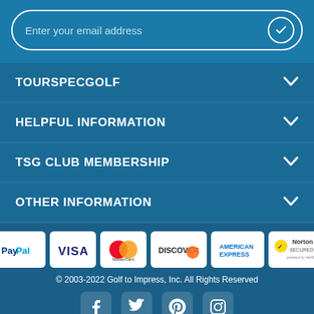Enter your email address
TOURSPECGOLF
HELPFUL INFORMATION
TSG CLUB MEMBERSHIP
OTHER INFORMATION
[Figure (other): Payment method logos: PayPal, Visa, MasterCard, Discover, American Express, Norton Secured]
© 2003-2022 Golf to Impress, Inc. All Rights Reserved
[Figure (other): Social media icons: Facebook, Twitter, Pinterest, Instagram]